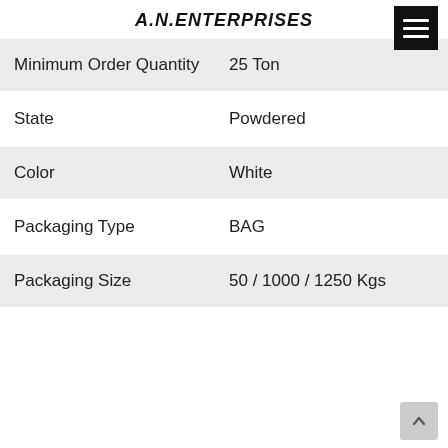A.N.ENTERPRISES
|  |  |
| --- | --- |
| Minimum Order Quantity | 25 Ton |
| State | Powdered |
| Color | White |
| Packaging Type | BAG |
| Packaging Size | 50 / 1000 / 1250 Kgs |